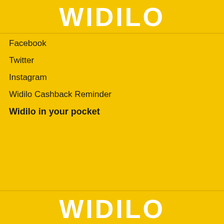WIDILO
Facebook
Twitter
Instagram
Widilo Cashback Reminder
Widilo in your pocket
WIDILO